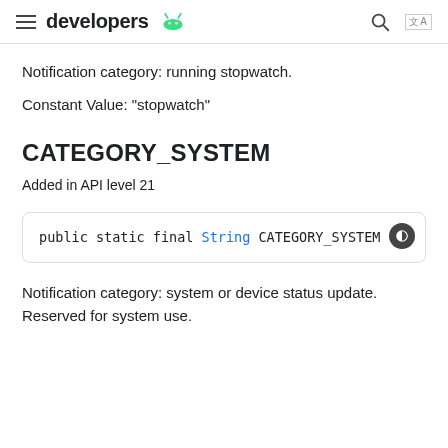developers
Notification category: running stopwatch.
Constant Value: "stopwatch"
CATEGORY_SYSTEM
Added in API level 21
public static final String CATEGORY_SYSTEM
Notification category: system or device status update. Reserved for system use.